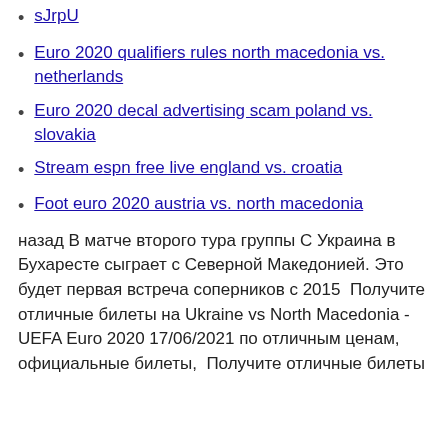sJrpU
Euro 2020 qualifiers rules north macedonia vs. netherlands
Euro 2020 decal advertising scam poland vs. slovakia
Stream espn free live england vs. croatia
Foot euro 2020 austria vs. north macedonia
назад В матче второго тура группы С Украина в Бухаресте сыграет с Северной Македонией. Это будет первая встреча соперников с 2015  Получите отличные билеты на Ukraine vs North Macedonia - UEFA Euro 2020 17/06/2021 по отличным ценам, официальные билеты,  Получите отличные билеты